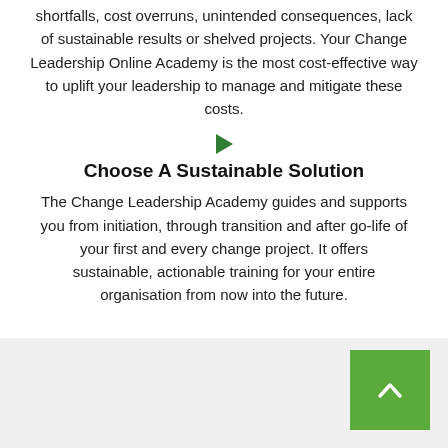shortfalls, cost overruns, unintended consequences, lack of sustainable results or shelved projects. Your Change Leadership Online Academy is the most cost-effective way to uplift your leadership to manage and mitigate these costs.
[Figure (illustration): Green right-pointing triangle arrow icon]
Choose A Sustainable Solution
The Change Leadership Academy guides and supports you from initiation, through transition and after go-life of your first and every change project. It offers sustainable, actionable training for your entire organisation from now into the future.
[Figure (other): Green square button with white upward chevron arrow for scrolling to top]